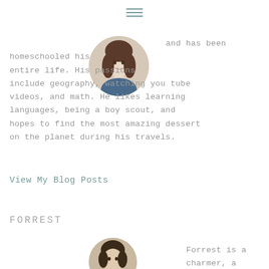[Figure (other): Hamburger menu icon (three horizontal lines)]
[Figure (photo): Circular avatar photo of a young woman with dark hair]
and has been homeschooled his entire life. His passions include geography, watching you tube videos, and math. He likes learning languages, being a boy scout, and hopes to find the most amazing dessert on the planet during his travels.
View My Blog Posts
FORREST
[Figure (photo): Circular avatar photo of a young man with dark hair]
Forrest is a charmer, a